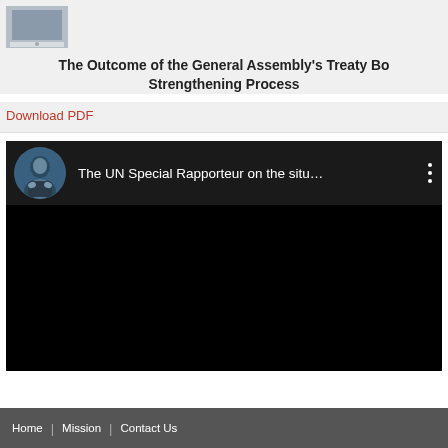[Figure (screenshot): Thumbnail image of a document or webpage header showing a presentation screenshot icon]
The Outcome of the General Assembly's Treaty Body Strengthening Process
Download PDF
[Figure (screenshot): Embedded YouTube video player showing 'The UN Special Rapporteur on the situ...' with a speaker avatar and black video area]
Home | Mission | Contact Us